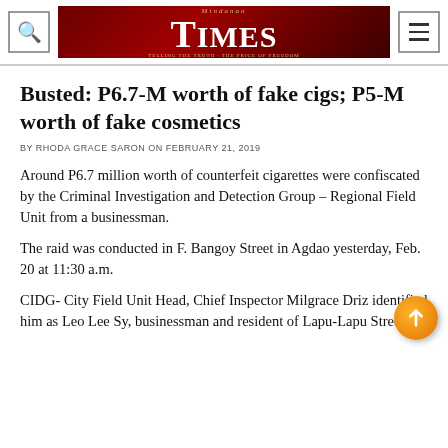Mindanao Times
Busted: P6.7-M worth of fake cigs; P5-M worth of fake cosmetics
BY RHODA GRACE SARON ON FEBRUARY 21, 2019
Around P6.7 million worth of counterfeit cigarettes were confiscated by the Criminal Investigation and Detection Group – Regional Field Unit from a businessman.
The raid was conducted in F. Bangoy Street in Agdao yesterday, Feb. 20 at 11:30 a.m.
CIDG- City Field Unit Head, Chief Inspector Milgrace Driz identified him as Leo Lee Sy, businessman and resident of Lapu-Lapu Street.